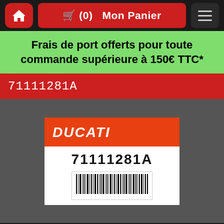🛒 (0)  Mon Panier
Frais de port offerts pour toute commande supérieure à 150€ TTC*
71111281A
[Figure (photo): Ducati product label showing part number 71111281A with barcode, orange Ducati header on white label background, displayed on dark grey background]